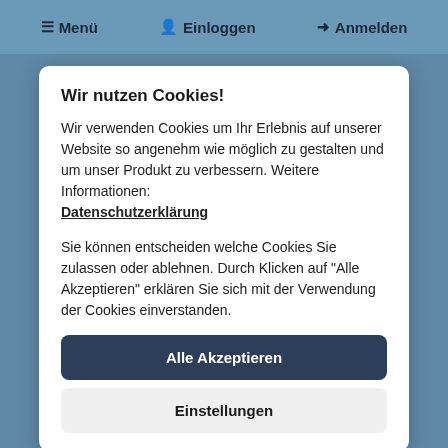≡ Menü   Einloggen   ➔ Anmelden
Wir nutzen Cookies!
Wir verwenden Cookies um Ihr Erlebnis auf unserer Website so angenehm wie möglich zu gestalten und um unser Produkt zu verbessern. Weitere Informationen: Datenschutzerklärung
Sie können entscheiden welche Cookies Sie zulassen oder ablehnen. Durch Klicken auf "Alle Akzeptieren" erklären Sie sich mit der Verwendung der Cookies einverstanden.
Alle Akzeptieren
Einstellungen